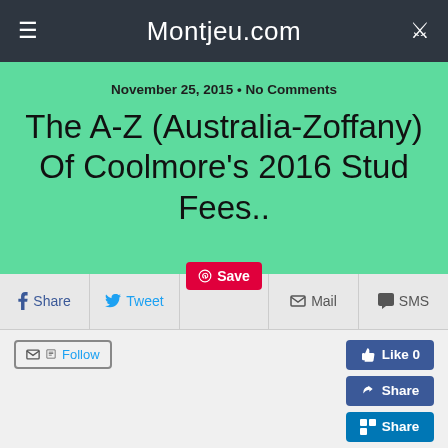Montjeu.com
November 25, 2015 • No Comments
The A-Z (Australia-Zoffany) Of Coolmore's 2016 Stud Fees..
Share  Tweet  Save  Mail  SMS
Follow  Like 0  Share  Share
Save
This is the time of year in which studs announce their 2016 fees. In the coming weeks, I will consider the prices announced by the major operators and whether they